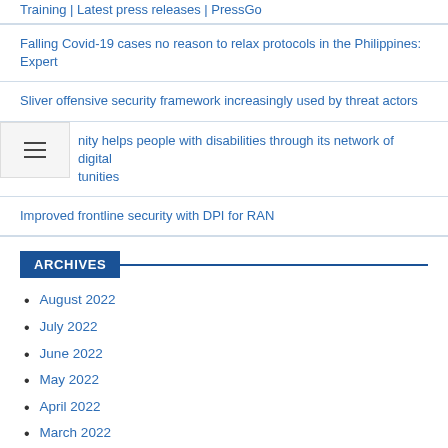Training | Latest press releases | PressGo
Falling Covid-19 cases no reason to relax protocols in the Philippines: Expert
Sliver offensive security framework increasingly used by threat actors
…nity helps people with disabilities through its network of digital …tunities
Improved frontline security with DPI for RAN
ARCHIVES
August 2022
July 2022
June 2022
May 2022
April 2022
March 2022
February 2022